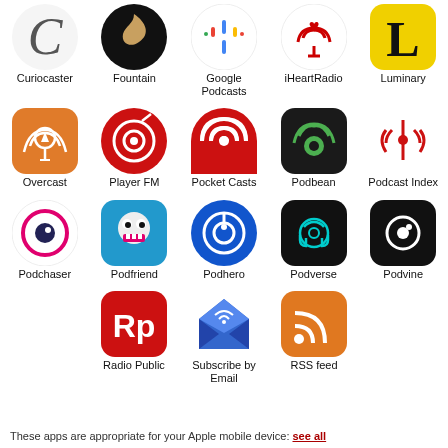[Figure (illustration): Grid of podcast app icons with labels: Row 1: Curiocaster, Fountain, Google Podcasts, iHeartRadio, Luminary. Row 2: Overcast, Player FM, Pocket Casts, Podbean, Podcast Index. Row 3: Podchaser, Podfriend, Podhero, Podverse, Podvine. Row 4 (centered): Radio Public, Subscribe by Email, RSS feed.]
These apps are appropriate for your Apple mobile device: see all